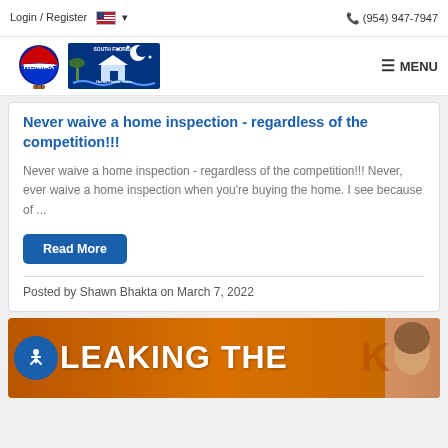Login / Register   🇺🇸 ▾   (954) 947-7947
[Figure (logo): RE/MAX and South Florida Home Finder Team logos side by side, with MENU icon on right]
Never waive a home inspection - regardless of the competition!!!
Never waive a home inspection - regardless of the competition!!! Never, ever waive a home inspection when you're buying the home. I see because of ...
Read More
Posted by Shawn Bhakta on March 7, 2022
[Figure (photo): Orange/brown banner image with bold white text reading 'LEAKING THE K...' (partially visible) and a person's face on the right, accessibility icon on left]